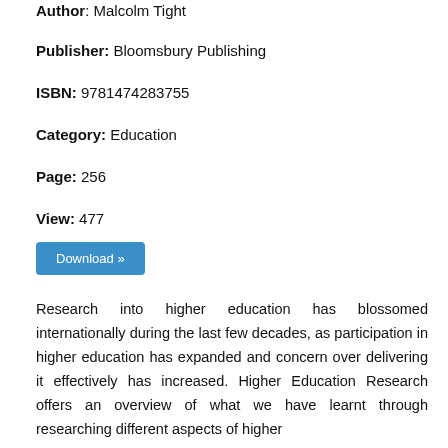Author: Malcolm Tight
Publisher: Bloomsbury Publishing
ISBN: 9781474283755
Category: Education
Page: 256
View: 477
Download »
Research into higher education has blossomed internationally during the last few decades, as participation in higher education has expanded and concern over delivering it effectively has increased. Higher Education Research offers an overview of what we have learnt through researching different aspects of higher